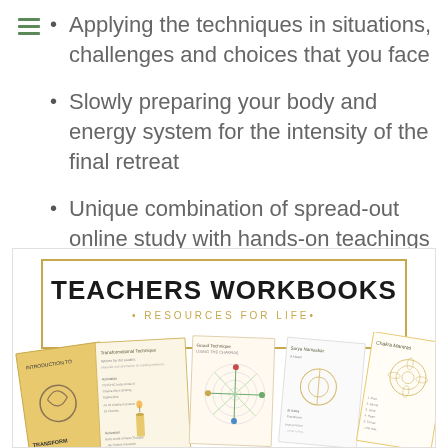Applying the techniques in situations, challenges and choices that you face
Slowly preparing your body and energy system for the intensity of the final retreat
Unique combination of spread-out online study with hands-on teachings
[Figure (photo): Teachers Workbooks promotional image showing 'TEACHERS WORKBOOKS · RESOURCES FOR LIFE ·' title with scattered workbook pages below]